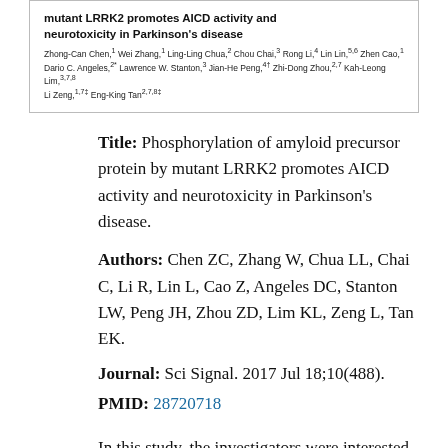[Figure (screenshot): Screenshot of a journal article header showing the title 'mutant LRRK2 promotes AICD activity and neurotoxicity in Parkinson's disease' and a list of authors including Zhong-Can Chen, Wei Zhang, Ling-Ling Chua, Chou Chai, Rong Li, Lin Lin, Zhen Cao, Dario C. Angeles, Lawrence W. Stanton, Jian-He Peng, Zhi-Dong Zhou, Kah-Leong Lim, Li Zeng, Eng-King Tan.]
Title: Phosphorylation of amyloid precursor protein by mutant LRRK2 promotes AICD activity and neurotoxicity in Parkinson's disease.
Authors: Chen ZC, Zhang W, Chua LL, Chai C, Li R, Lin L, Cao Z, Angeles DC, Stanton LW, Peng JH, Zhou ZD, Lim KL, Zeng L, Tan EK.
Journal: Sci Signal. 2017 Jul 18;10(488).
PMID: 28720718
In this study, the investigators were interested in the interactions of a Parkinson's-associated protein called Leucine-rich repeat kinase 2 (or LRRK2).